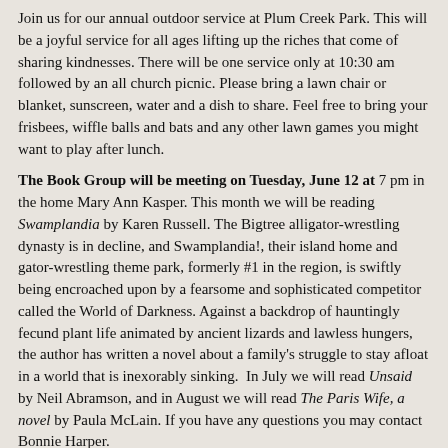Join us for our annual outdoor service at Plum Creek Park. This will be a joyful service for all ages lifting up the riches that come of sharing kindnesses. There will be one service only at 10:30 am followed by an all church picnic. Please bring a lawn chair or blanket, sunscreen, water and a dish to share. Feel free to bring your frisbees, wiffle balls and bats and any other lawn games you might want to play after lunch.
The Book Group will be meeting on Tuesday, June 12 at 7 pm in the home Mary Ann Kasper. This month we will be reading Swamplandia by Karen Russell. The Bigtree alligator-wrestling dynasty is in decline, and Swamplandia!, their island home and gator-wrestling theme park, formerly #1 in the region, is swiftly being encroached upon by a fearsome and sophisticated competitor called the World of Darkness. Against a backdrop of hauntingly fecund plant life animated by ancient lizards and lawless hungers, the author has written a novel about a family's struggle to stay afloat in a world that is inexorably sinking. In July we will read Unsaid by Neil Abramson, and in August we will read The Paris Wife, a novel by Paula McLain. If you have any questions you may contact Bonnie Harper.